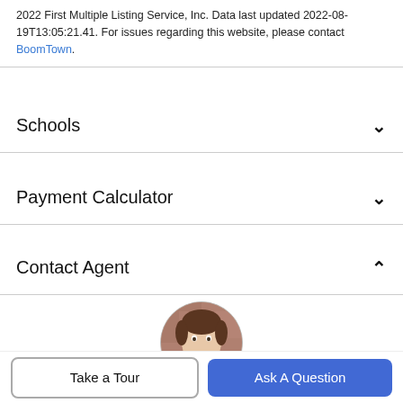2022 First Multiple Listing Service, Inc. Data last updated 2022-08-19T13:05:21.41. For issues regarding this website, please contact BoomTown.
Schools
Payment Calculator
Contact Agent
[Figure (photo): Circular profile photo of Deborah Weiner, a real estate agent, against a brick wall background.]
Deborah Weiner
Realtor
Office: 678 540 4000
Take a Tour
Ask A Question